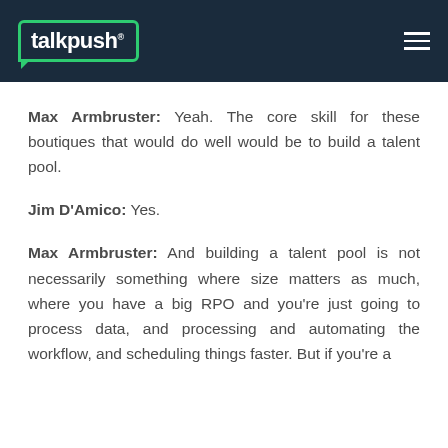talkpush
Max Armbruster: Yeah. The core skill for these boutiques that would do well would be to build a talent pool.
Jim D'Amico: Yes.
Max Armbruster: And building a talent pool is not necessarily something where size matters as much, where you have a big RPO and you're just going to process data, and processing and automating the workflow, and scheduling things faster. But if you're a